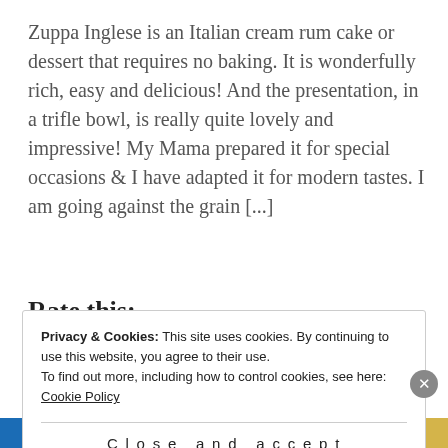Zuppa Inglese is an Italian cream rum cake or dessert that requires no baking. It is wonderfully rich, easy and delicious! And the presentation, in a trifle bowl, is really quite lovely and impressive! My Mama prepared it for special occasions & I have adapted it for modern tastes. I am going against the grain [...]
Rate this:
Privacy & Cookies: This site uses cookies. By continuing to use this website, you agree to their use.
To find out more, including how to control cookies, see here:
Cookie Policy
Close and accept